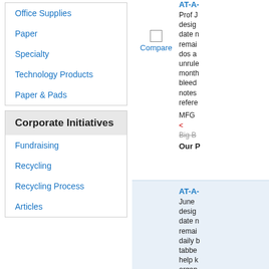Office Supplies
Paper
Specialty
Technology Products
Paper & Pads
Corporate Initiatives
Fundraising
Recycling
Recycling Process
Articles
AT-A- Prof J desig date n remai dos a unrule month bleed notes refere MFG < Big B Our P
AT-A- June desig date n remai daily b tabbe help k organ refere Acade MFG < Big B